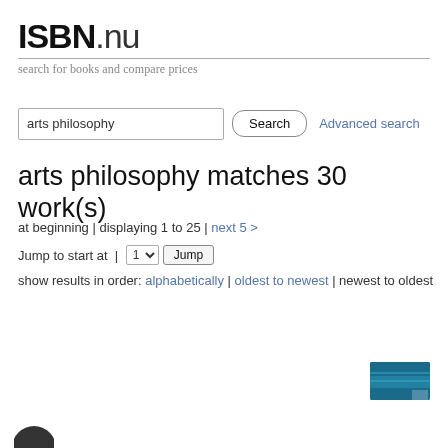ISBN.nu
search for books and compare prices
arts philosophy
arts philosophy matches 30 work(s)
at beginning | displaying 1 to 25 | next 5 >
Jump to start at | 1 Jump
show results in order: alphabetically | oldest to newest | newest to oldest
[Figure (screenshot): Small banner advertisement image in blue tones at bottom right of page]
[Figure (photo): Partial circular icon or logo at bottom left edge]